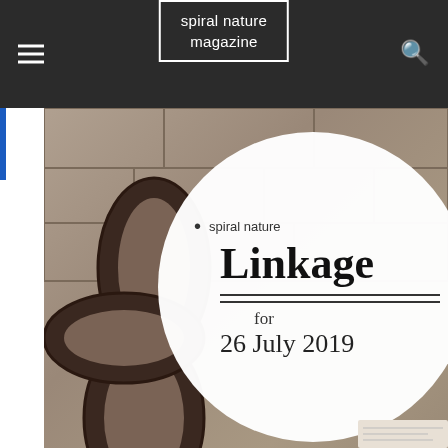spiral nature magazine
[Figure (photo): Article feature image showing a close-up of heavy iron chain links against a stone wall background, with a white circular overlay containing the text 'spiral nature Linkage for 26 July 2019']
Linkage: Witchcraft, tarot, and staying connected
Spiral Nature Magazine  –  26 July 2019